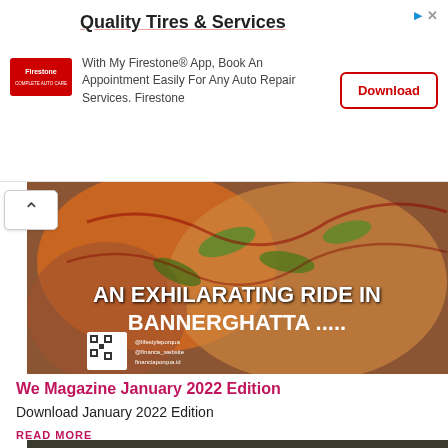[Figure (screenshot): Firestone advertisement banner with logo, 'Quality Tires & Services' heading, app booking text, and Download button]
[Figure (photo): Close-up of colorful painted pumpkin or gourd in orange, green, red with text overlay 'AN EXHILARATING RIDE IN BANNERGHATTA .....' and QR code in lower left]
We Magazine January 2022 Edition
Download January 2022 Edition
READ MORE
[Figure (photo): Partial view of Women Exclusive magazine cover with text 'WOMEN EXCLUSIVE' visible at bottom of page]